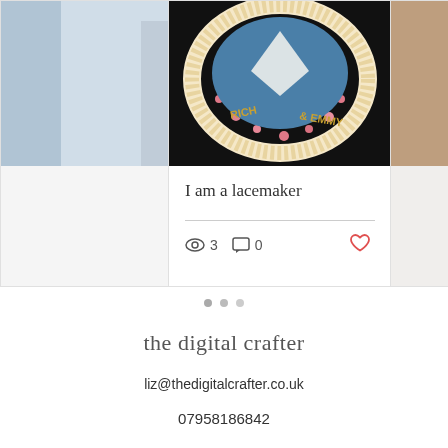[Figure (photo): Screenshot of a website showing blog post cards. Left card partially visible with blue/grey image. Center card shows embroidered hoop with text 'RICH & EMMY' and floral decoration, with title 'I am a lacemaker', 3 views, 0 comments, and a heart icon. Right card partially visible. Below cards are navigation dots.]
I am a lacemaker
3
0
the digital crafter
liz@thedigitalcrafter.co.uk
07958186842